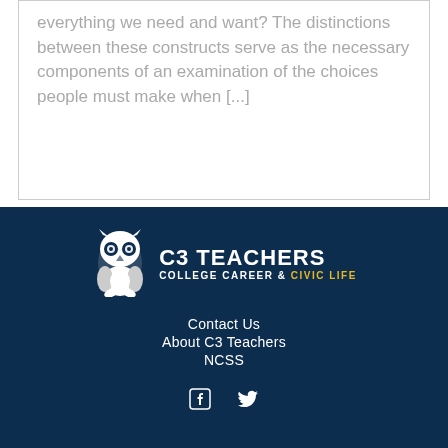everything we need and want? The distinctions between these constructs serve as the necessary components of an examination of the choices people must make when [...]
[Figure (logo): C3 Teachers logo — owl icon on the left, 'C3 TEACHERS' in bold white text, 'COLLEGE CAREER & CIVIC LIFE' below with 'CIVIC LIFE' in gold]
Contact Us
About C3 Teachers
NCSS
[Figure (other): Facebook and Twitter social media icons in white]